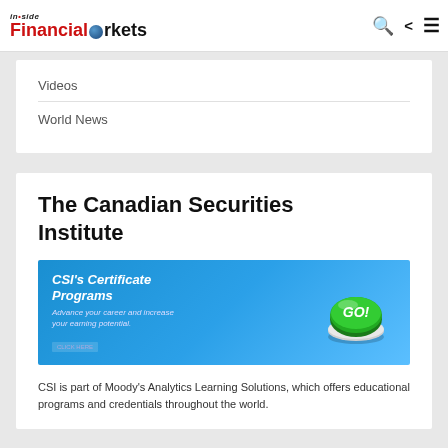inside Financial Markets
Videos
World News
The Canadian Securities Institute
[Figure (illustration): CSI's Certificate Programs advertisement banner. Text reads: CSI's Certificate Programs. Advance your career and increase your earning potential. Green GO! button on the right side.]
CSI is part of Moody's Analytics Learning Solutions, which offers educational programs and credentials throughout the world.